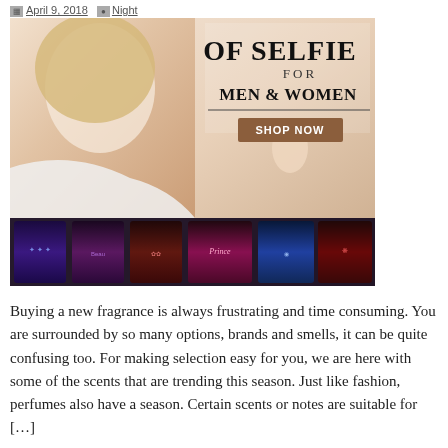April 9, 2018  Night
[Figure (photo): Advertisement banner showing a woman applying perfume with text 'OF SELFIE FOR MEN & WOMEN' and a SHOP NOW button, with a strip of colorful perfume bottle images at the bottom.]
Buying a new fragrance is always frustrating and time consuming. You are surrounded by so many options, brands and smells, it can be quite confusing too. For making selection easy for you, we are here with some of the scents that are trending this season. Just like fashion, perfumes also have a season. Certain scents or notes are suitable for […]